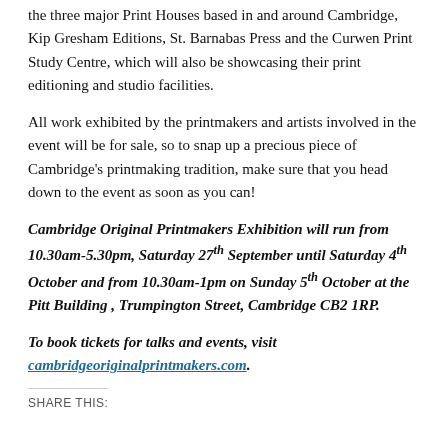the three major Print Houses based in and around Cambridge, Kip Gresham Editions, St. Barnabas Press and the Curwen Print Study Centre, which will also be showcasing their print editioning and studio facilities.
All work exhibited by the printmakers and artists involved in the event will be for sale, so to snap up a precious piece of Cambridge's printmaking tradition, make sure that you head down to the event as soon as you can!
Cambridge Original Printmakers Exhibition will run from 10.30am-5.30pm, Saturday 27th September until Saturday 4th October and from 10.30am-1pm on Sunday 5th October at the Pitt Building , Trumpington Street, Cambridge CB2 1RP.
To book tickets for talks and events, visit cambridgeoriginalprintmakers.com.
SHARE THIS: